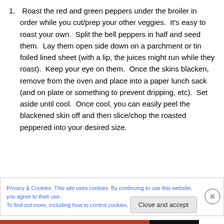Roast the red and green peppers under the broiler in order while you cut/prep your other veggies.  It's easy to roast your own.  Split the bell peppers in half and seed them.  Lay them open side down on a parchment or tin foiled lined sheet (with a lip, the juices might run while they roast).  Keep your eye on them.  Once the skins blacken, remove from the oven and place into a paper lunch sack (and on plate or something to prevent dripping, etc).  Set aside until cool.  Once cool, you can easily peel the blackened skin off and then slice/chop the roasted peppered into your desired size.
Privacy & Cookies: This site uses cookies. By continuing to use this website, you agree to their use.
To find out more, including how to control cookies, see here: Cookie Policy